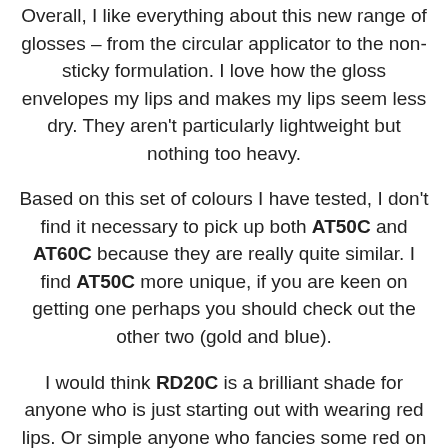Overall, I like everything about this new range of glosses – from the circular applicator to the non-sticky formulation. I love how the gloss envelopes my lips and makes my lips seem less dry. They aren't particularly lightweight but nothing too heavy.
Based on this set of colours I have tested, I don't find it necessary to pick up both AT50C and AT60C because they are really quite similar. I find AT50C more unique, if you are keen on getting one perhaps you should check out the other two (gold and blue).
I would think RD20C is a brilliant shade for anyone who is just starting out with wearing red lips. Or simple anyone who fancies some red on a daily basis without being over the top.
Thank you for looking.